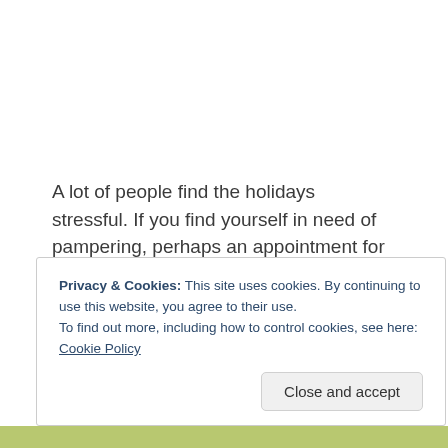A lot of people find the holidays stressful. If you find yourself in need of pampering, perhaps an appointment for services at Lili Salon – Spa will bring needed relief.
Lili Salon – Spa
3464 Galleria
Edina MN 55436
952-935-5000
Privacy & Cookies: This site uses cookies. By continuing to use this website, you agree to their use.
To find out more, including how to control cookies, see here: Cookie Policy